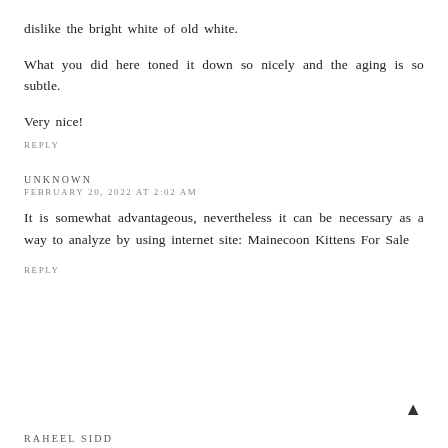dislike the bright white of old white.
What you did here toned it down so nicely and the aging is so subtle.
Very nice!
REPLY
UNKNOWN
FEBRUARY 20, 2022 AT 2:02 AM
It is somewhat advantageous, nevertheless it can be necessary as a way to analyze by using internet site: Mainecoon Kittens For Sale
REPLY
RAHEEL SIDD